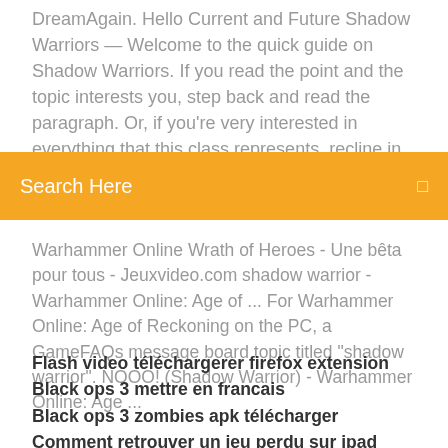DreamAgain. Hello Current and Future Shadow Warriors — Welcome to the quick guide on Shadow Warriors. If you read the point and the topic interests you, step back and read the paragraph. Or, if you're very interested in everything that this class represents, recline in your chair, light a candle to set the mood, and enjoy the read. Warhammer Online : Age of
Search Here
Warhammer Online Wrath of Heroes - Une bêta pour tous - Jeuxvideo.com shadow warrior - Warhammer Online: Age of ... For Warhammer Online: Age of Reckoning on the PC, a GameFAQs message board topic titled "shadow warrior". NOOO! (Shadow Warrior) - Warhammer Online: Age ...
Flash video téléchargerer firefox extension
Black ops 3 mettre en francais
Black ops 3 zombies apk télécharger
Comment retrouver un jeu perdu sur ipad